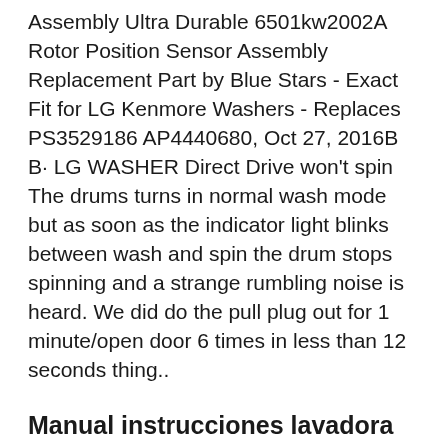Assembly Ultra Durable 6501kw2002A Rotor Position Sensor Assembly Replacement Part by Blue Stars - Exact Fit for LG Kenmore Washers - Replaces PS3529186 AP4440680, Oct 27, 2016B B· LG WASHER Direct Drive won't spin The drums turns in normal wash mode but as soon as the indicator light blinks between wash and spin the drum stops spinning and a strange rumbling noise is heard. We did do the pull plug out for 1 minute/open door 6 times in less than 12 seconds thing..
Manual instrucciones lavadora lg direct drive 8 kg